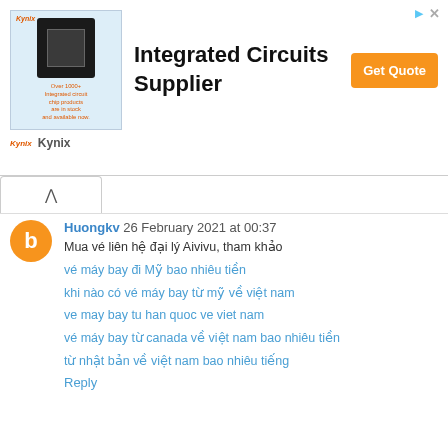[Figure (other): Kynix advertisement banner for Integrated Circuits Supplier with chip image, Get Quote button, and Kynix branding]
Huongkv 26 February 2021 at 00:37
Mua vé liên hệ đại lý Aivivu, tham khảo
vé máy bay đi Mỹ bao nhiêu tiền
khi nào có vé máy bay từ mỹ về việt nam
ve may bay tu han quoc ve viet nam
vé máy bay từ canada về việt nam bao nhiêu tiền
từ nhật bản về việt nam bao nhiêu tiếng
Reply